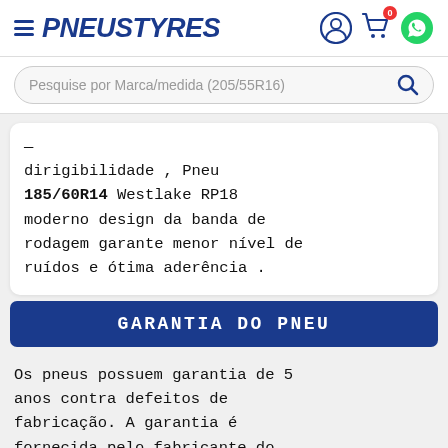≡ PNEUSTYRES
Pesquise por Marca/medida (205/55R16)
dirigibilidade , Pneu 185/60R14 Westlake RP18 moderno design da banda de rodagem garante menor nível de ruídos e ótima aderência .
GARANTIA DO PNEU
Os pneus possuem garantia de 5 anos contra defeitos de fabricação. A garantia é fornecida pelo fabricante do